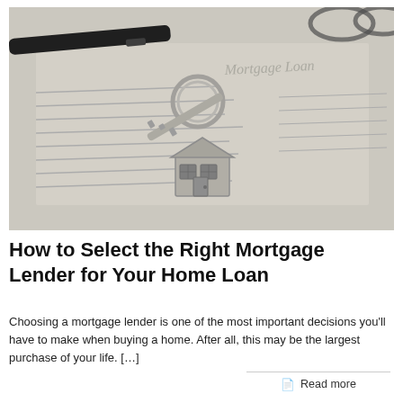[Figure (photo): A close-up photo of a house-shaped key fob on a keyring resting on a mortgage loan document, with a pen and glasses in the background.]
How to Select the Right Mortgage Lender for Your Home Loan
Choosing a mortgage lender is one of the most important decisions you'll have to make when buying a home. After all, this may be the largest purchase of your life. […]
Read more